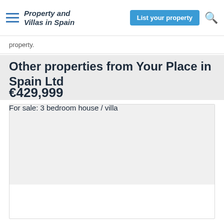Property and Villas in Spain | List your property
property.
Other properties from Your Place in Spain Ltd
[Figure (photo): Property listing image placeholder (light grey box)]
€429,999
For sale: 3 bedroom house / villa